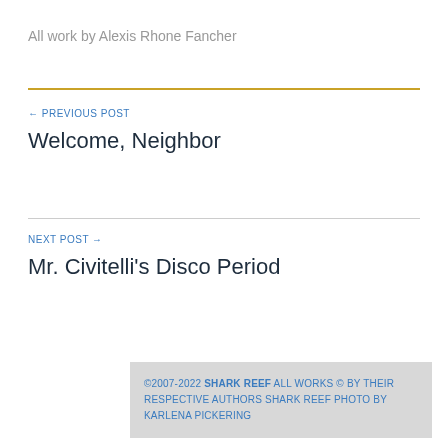All work by Alexis Rhone Fancher
← PREVIOUS POST
Welcome, Neighbor
NEXT POST →
Mr. Civitelli's Disco Period
©2007-2022 SHARK REEF ALL WORKS © BY THEIR RESPECTIVE AUTHORS SHARK REEF PHOTO BY KARLENA PICKERING